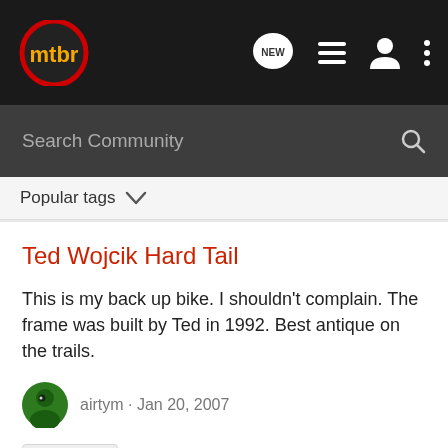mtbr
Search Community
Popular tags
Ted Wojcik Hard Tail
This is my back up bike. I shouldn't complain. The frame was built by Ted in 1992. Best antique on the trails.
airtym · Jan 20, 2007
ted wojcik